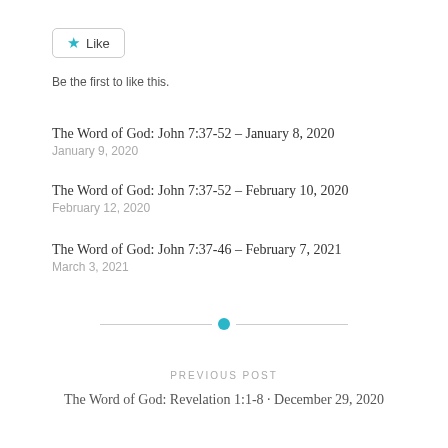[Figure (other): Like button with star icon and border]
Be the first to like this.
The Word of God: John 7:37-52 – January 8, 2020
January 9, 2020
The Word of God: John 7:37-52 – February 10, 2020
February 12, 2020
The Word of God: John 7:37-46 – February 7, 2021
March 3, 2021
[Figure (other): Horizontal divider with teal dot in center]
PREVIOUS POST
The Word of God: Revelation 1:1-8 - December 29, 2020